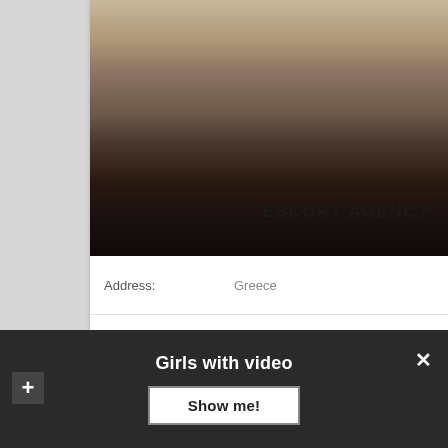[Figure (photo): Woman in black lingerie and high heels posing on a striped chair, with ESCORT AGENCY watermark text overlay]
| Address: | Greece |
| Age: | 21 years |
| Height: | 159 |
Girls with video
Show me!